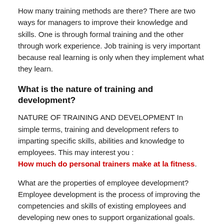How many training methods are there? There are two ways for managers to improve their knowledge and skills. One is through formal training and the other through work experience. Job training is very important because real learning is only when they implement what they learn.
What is the nature of training and development?
NATURE OF TRAINING AND DEVELOPMENT In simple terms, training and development refers to imparting specific skills, abilities and knowledge to employees. This may interest you : How much do personal trainers make at la fitness.
What are the properties of employee development? Employee development is the process of improving the competencies and skills of existing employees and developing new ones to support organizational goals.